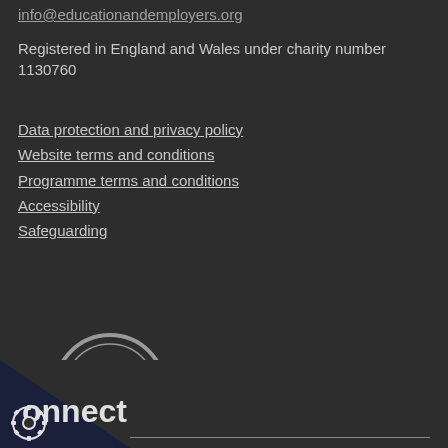info@educationandemployers.org
Registered in England and Wales under charity number 1130760
Data protection and privacy policy
Website terms and conditions
Programme terms and conditions
Accessibility
Safeguarding
[Figure (logo): Registered with Fundraising Regulator badge - circular FR logo with text 'Registered with FUNDRAISING REGULATOR']
onnect